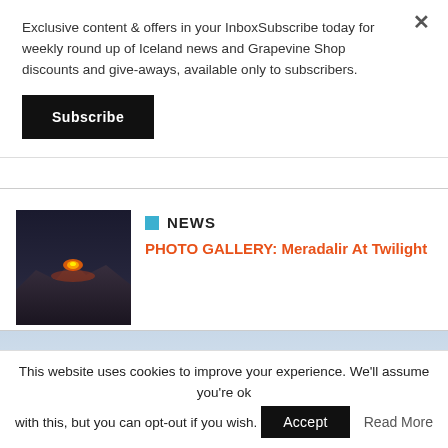Exclusive content & offers in your InboxSubscribe today for weekly round up of Iceland news and Grapevine Shop discounts and give-aways, available only to subscribers.
Subscribe
[Figure (photo): Thumbnail photo of volcanic eruption at night with glowing lava, Meradalir Iceland]
NEWS
PHOTO GALLERY: Meradalir At Twilight
[Figure (photo): VARMA Made in Iceland advertisement banner showing snowy Icelandic mountains with VARMA logo in large bold text]
This website uses cookies to improve your experience. We'll assume you're ok with this, but you can opt-out if you wish.
Accept
Read More